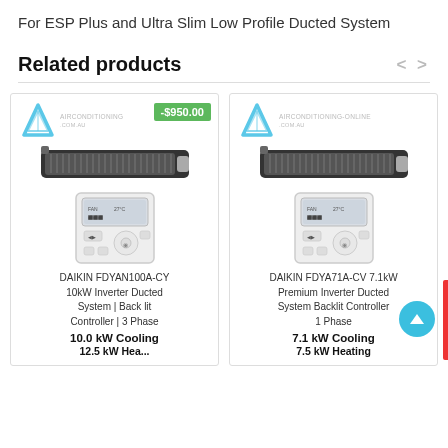For ESP Plus and Ultra Slim Low Profile Ducted System
Related products
[Figure (screenshot): Two product cards showing Daikin ducted air conditioning units with controllers, logos, and product details]
DAIKIN FDYAN100A-CY 10kW Inverter Ducted System | Back lit Controller | 3 Phase
10.0 kW Cooling
12.5 kW Heating
DAIKIN FDYA71A-CV 7.1kW Premium Inverter Ducted System Backlit Controller 1 Phase
7.1 kW Cooling
7.5 kW Heating